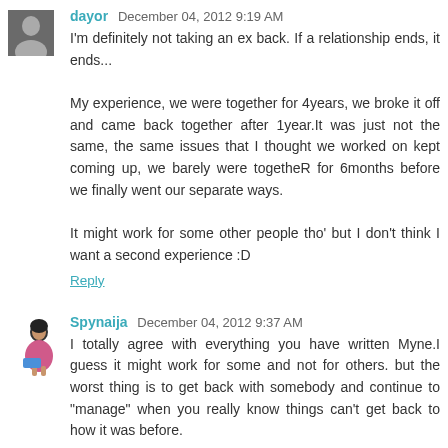dayor  December 04, 2012 9:19 AM
I'm definitely not taking an ex back. If a relationship ends, it ends...

My experience, we were together for 4years, we broke it off and came back together after 1year.It was just not the same, the same issues that I thought we worked on kept coming up, we barely were togetheR for 6months before we finally went our separate ways.

It might work for some other people tho' but I don't think I want a second experience :D
Reply
Spynaija  December 04, 2012 9:37 AM
I totally agree with everything you have written Myne.I guess it might work for some and not for others. but the worst thing is to get back with somebody and continue to "manage" when you really know things can't get back to how it was before.